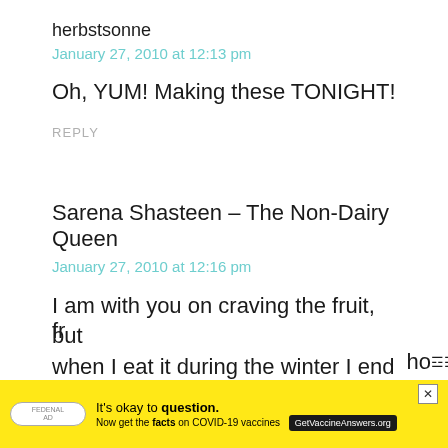herbstsonne
January 27, 2010 at 12:13 pm
Oh, YUM! Making these TONIGHT!
REPLY
Sarena Shasteen – The Non-Dairy Queen
January 27, 2010 at 12:16 pm
I am with you on craving the fruit, but when I eat it during the winter I end up fr... hot
[Figure (screenshot): Yellow advertisement banner: It's okay to question. Now get the facts on COVID-19 vaccines. GetVaccineAnswers.org. With a close button (X) in top right.]